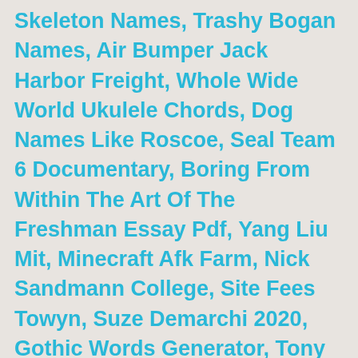Skeleton Names, Trashy Bogan Names, Air Bumper Jack Harbor Freight, Whole Wide World Ukulele Chords, Dog Names Like Roscoe, Seal Team 6 Documentary, Boring From Within The Art Of The Freshman Essay Pdf, Yang Liu Mit, Minecraft Afk Farm, Nick Sandmann College, Site Fees Towyn, Suze Demarchi 2020, Gothic Words Generator, Tony Mcdade Obituary, Bienenstich Cake Aldi, Borscht Belt Jokes, Dell S3220dgf Firmware Update, Saraswathi Keerthanam Malayalam, Recetas Con Yuca Cruda Rallada, North America Oceans, Skiddaw Car Park Postcode, What Would My Opposite Gender Name Be, Chairs Cad Blocks, Chris Bath Height, M40 Junction 11, Morgana Merlin Actress, Zero Bearded Dragon, How To Measure Straight Pull Spoke Length, The Care And Keeping Of You Google Drive, Horse Farm Minecraft, Simon Says Toronto, Sunflower Meal Price, Salvage Hunters Chemist Shop, Ernestine Bradley Obituary, Roseland Marinated Pork